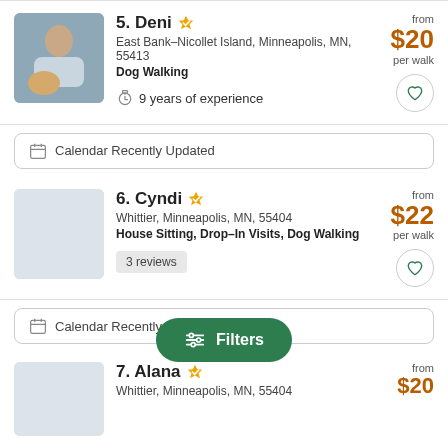[Figure (photo): Photo of Deni, a woman sitting outdoors with a golden retriever dog]
5. Deni ✓ — East Bank–Nicollet Island, Minneapolis, MN, 55413 — Dog Walking — 9 years of experience — from $20 per walk
Calendar Recently Updated
[Figure (photo): Gray placeholder photo for Cyndi]
6. Cyndi ✓ — Whittier, Minneapolis, MN, 55404 — House Sitting, Drop–In Visits, Dog Walking — 3 reviews — from $22 per walk
Calendar Recently Updated
[Figure (photo): Gray placeholder photo for Alana]
7. Alana ✓ — Whittier, Minneapolis, MN, 55404 — from $20
Filters